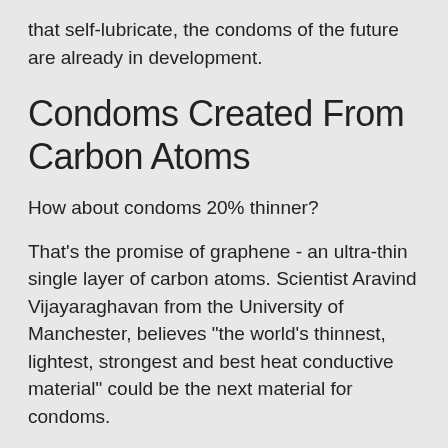that self-lubricate, the condoms of the future are already in development.
Condoms Created From Carbon Atoms
How about condoms 20% thinner?
That's the promise of graphene - an ultra-thin single layer of carbon atoms. Scientist Aravind Vijayaraghavan from the University of Manchester, believes "the world's thinnest, lightest, strongest and best heat conductive material" could be the next material for condoms.
The Bill and Melinda Gates Foundation gave his team a grant as part of a campaign to develop innovative